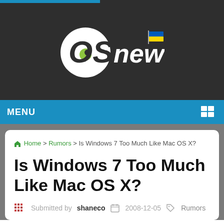[Figure (logo): OSNews logo with Ukrainian flag on dark background]
MENU
Home > Rumors > Is Windows 7 Too Much Like Mac OS X?
Is Windows 7 Too Much Like Mac OS X?
Submitted by shaneco  2008-12-05  Rumors